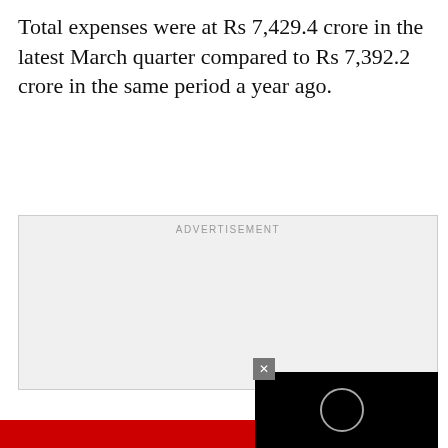Total expenses were at Rs 7,429.4 crore in the latest March quarter compared to Rs 7,392.2 crore in the same period a year ago.
[Figure (other): Advertisement placeholder box with 'ADVERTISEMENT' label at top center, showing a light gray empty ad slot with a close button (×) and a black video player overlay in the bottom-right corner containing a circular loading/play indicator.]